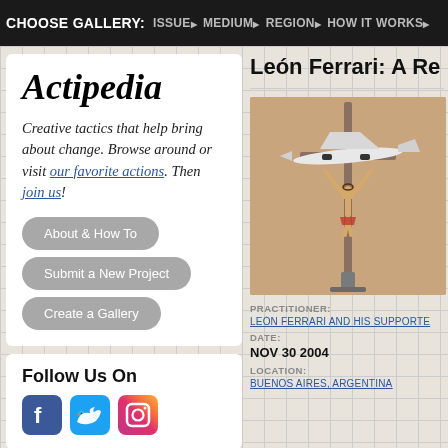CHOOSE GALLERY: ISSUE▸ MEDIUM▸ REGION▸ HOW IT WORKS▸
Actipedia
Creative tactics that help bring about change. Browse around or visit our favorite actions. Then join us!
About & How To
Submit a New Project
Create a Gallery
Follow Us On
[Figure (other): Social media icons: Facebook (blue), Twitter (light blue), Instagram (gradient)]
León Ferrari: A Re
[Figure (photo): Photo of a crucifix with an airplane model attached, on a metal stand, against a warm beige background]
PRACTITIONER:
LEÓN FERRARI AND HIS SUPPORTE
DATE:
NOV 30 2004
LOCATION:
BUENOS AIRES, ARGENTINA